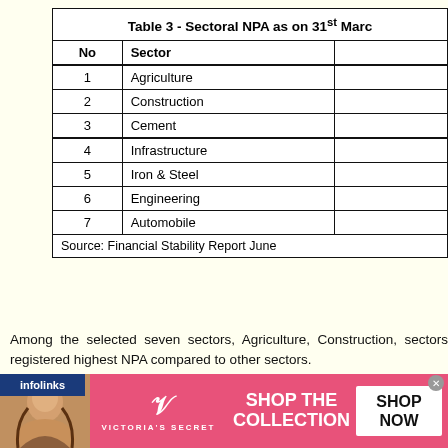| No | Sector |  |
| --- | --- | --- |
| 1 | Agriculture |  |
| 2 | Construction |  |
| 3 | Cement |  |
| 4 | Infrastructure |  |
| 5 | Iron & Steel |  |
| 6 | Engineering |  |
| 7 | Automobile |  |
|  | Source: Financial Stability Report June |  |
Among the selected seven sectors, Agriculture, Construction, sectors registered highest NPA compared to other sectors.
[Figure (photo): Victoria's Secret advertisement banner with model photo, VS logo, 'SHOP THE COLLECTION' text and 'SHOP NOW' button]